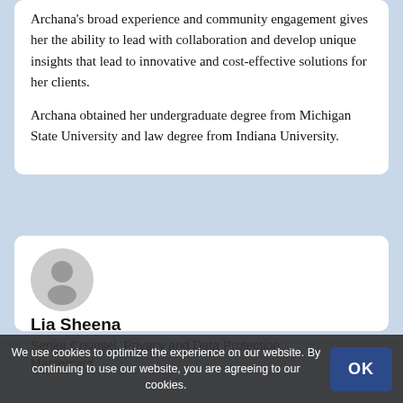Archana's broad experience and community engagement gives her the ability to lead with collaboration and develop unique insights that lead to innovative and cost-effective solutions for her clients.
Archana obtained her undergraduate degree from Michigan State University and law degree from Indiana University.
[Figure (illustration): Generic person avatar icon — gray silhouette of a person in a circle]
Lia Sheena
Senior Counsel, Privacy and Data Protection
Mastercard
We use cookies to optimize the experience on our website. By continuing to use our website, you are agreeing to our use of cookies.